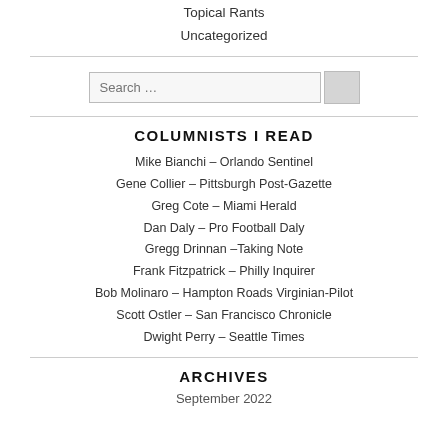Topical Rants
Uncategorized
COLUMNISTS I READ
Mike Bianchi – Orlando Sentinel
Gene Collier – Pittsburgh Post-Gazette
Greg Cote – Miami Herald
Dan Daly – Pro Football Daly
Gregg Drinnan –Taking Note
Frank Fitzpatrick – Philly Inquirer
Bob Molinaro – Hampton Roads Virginian-Pilot
Scott Ostler – San Francisco Chronicle
Dwight Perry – Seattle Times
ARCHIVES
September 2022